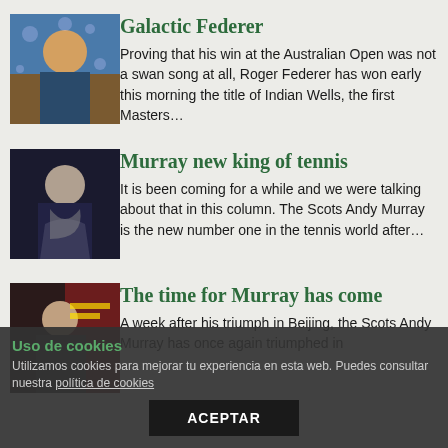Galactic Federer
[Figure (photo): Roger Federer holding a trophy]
Proving that his win at the Australian Open was not a swan song at all, Roger Federer has won early this morning the title of Indian Wells, the first Masters…
Murray new king of tennis
[Figure (photo): Andy Murray holding a trophy]
It is been coming for a while and we were talking about that in this column. The Scots Andy Murray is the new number one in the tennis world after…
The time for Murray has come
[Figure (photo): Andy Murray with trophy in Beijing]
A week after his triumph in Beijing, the Scots Andy Murray has once again triumphed in
Uso de cookies
Utilizamos cookies para mejorar tu experiencia en esta web. Puedes consultar nuestra política de cookies
ACEPTAR